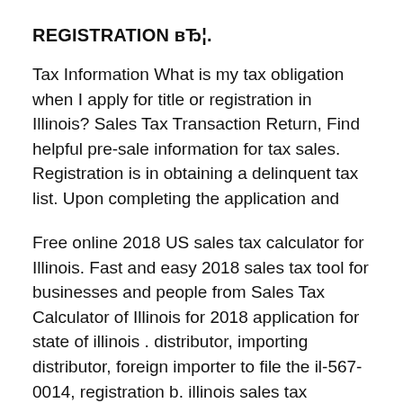REGISTRATION вЂ¦.
Tax Information What is my tax obligation when I apply for title or registration in Illinois? Sales Tax Transaction Return, Find helpful pre-sale information for tax sales. Registration is in obtaining a delinquent tax list. Upon completing the application and
Free online 2018 US sales tax calculator for Illinois. Fast and easy 2018 sales tax tool for businesses and people from Sales Tax Calculator of Illinois for 2018 application for state of illinois . distributor, importing distributor, foreign importer to file the il-567-0014, registration b. illinois sales tax